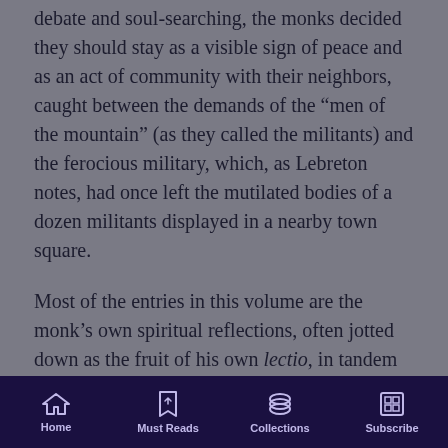debate and soul-searching, the monks decided they should stay as a visible sign of peace and as an act of community with their neighbors, caught between the demands of the “men of the mountain” (as they called the militants) and the ferocious military, which, as Lebreton notes, had once left the mutilated bodies of a dozen militants displayed in a nearby town square.
Most of the entries in this volume are the monk’s own spiritual reflections, often jotted down as the fruit of his own lectio, in tandem with his comments on his life in community. While his notes on the conflict in Algeria fill in the now-ample chronicle of those sad days, it is in those spiritual reflections that we find sustenance. Lebreton’s poetic touch lends the
Home | Must Reads | Collections | Subscribe